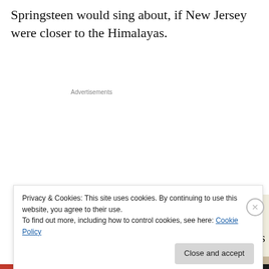Springsteen would sing about, if New Jersey were closer to the Himalayas.
Advertisements
[Figure (screenshot): Advertisement banner with beige background showing 'Professionally designed sites in less than a week' with green 'Explore options' button and website mockup screenshots on the right.]
Privacy & Cookies: This site uses cookies. By continuing to use this website, you agree to their use.
To find out more, including how to control cookies, see here: Cookie Policy
Close and accept